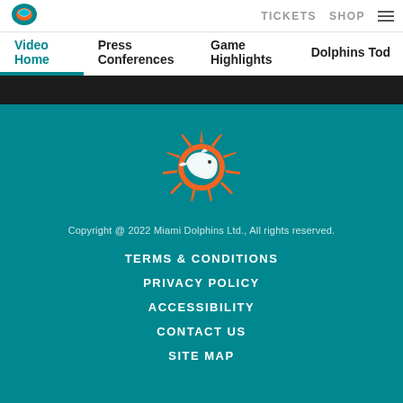TICKETS  SHOP  ≡
Video Home  Press Conferences  Game Highlights  Dolphins Tod…
[Figure (logo): Miami Dolphins logo in footer — dolphin leaping through sun/starburst, teal and orange colors]
Copyright @ 2022 Miami Dolphins Ltd., All rights reserved.
TERMS & CONDITIONS
PRIVACY POLICY
ACCESSIBILITY
CONTACT US
SITE MAP